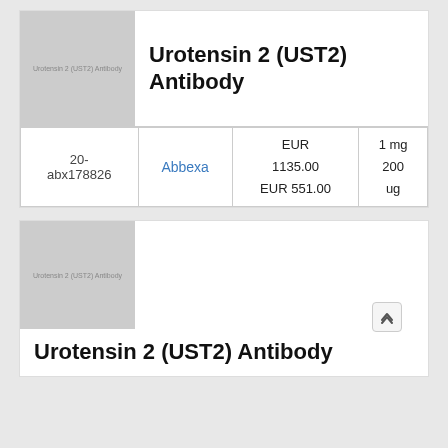[Figure (other): Grey placeholder image for Urotensin 2 (UST2) Antibody product]
Urotensin 2 (UST2) Antibody
| Cat. No. | Supplier | Price | Size |
| --- | --- | --- | --- |
| 20-abx178826 | Abbexa | EUR 1135.00
EUR 551.00 | 1 mg
200 ug |
[Figure (other): Grey placeholder image for Urotensin 2 (UST2) Antibody product (second card)]
Urotensin 2 (UST2) Antibody